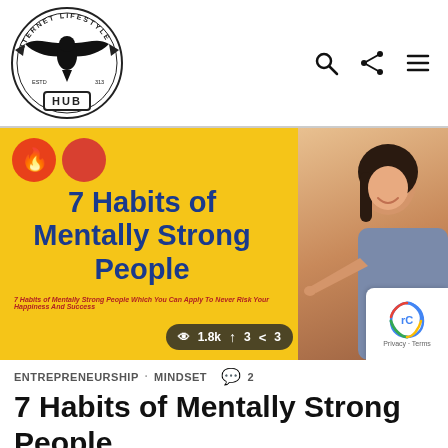[Figure (logo): Internet Lifestyle Hub logo: eagle/hawk with wings spread inside a circular badge with text 'INTERNET LIFESTYLE' around top and 'HUB' in a rectangular badge at the bottom]
[Figure (illustration): Navigation icons: search (magnifying glass), share, and hamburger menu icons]
[Figure (photo): Hero banner image with yellow background showing '7 Habits of Mentally Strong People' in bold blue text, two circular badges (fire icon and red circle) in top left, subtitle text in red italic, a smiling woman on the right side pointing left, stats bar showing eye icon 1.8k, arrow up 3, share 3]
ENTREPRENEURSHIP   MINDSET   💬 2
7 Habits of Mentally Strong People